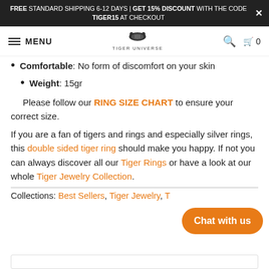FREE STANDARD SHIPPING 6-12 DAYS | GET 15% DISCOUNT WITH THE CODE TIGER15 AT CHECKOUT
MENU | TIGER UNIVERSE | Search | Cart 0
Comfortable: No form of discomfort on your skin
Weight: 15gr
Please follow our RING SIZE CHART to ensure your correct size.
If you are a fan of tigers and rings and especially silver rings, this double sided tiger ring should make you happy. If not you can always discover all our Tiger Rings or have a look at our whole Tiger Jewelry Collection.
Collections: Best Sellers, Tiger Jewelry, T...